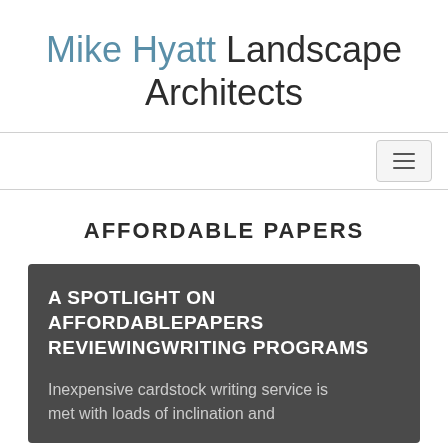Mike Hyatt Landscape Architects
AFFORDABLE PAPERS
A SPOTLIGHT ON AFFORDABLEPAPERS REVIEWINGWRITING PROGRAMS
Inexpensive cardstock writing service is met with loads of inclination and